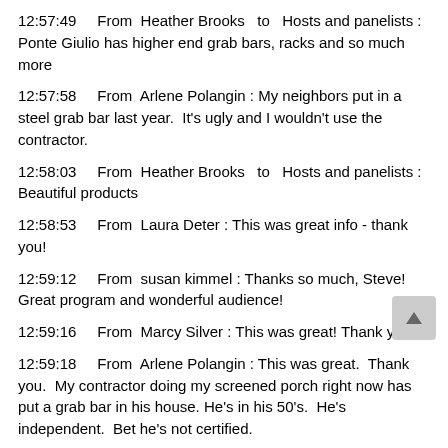12:57:49	From Heather Brooks to Hosts and panelists : Ponte Giulio has higher end grab bars, racks and so much more
12:57:58	From Arlene Polangin : My neighbors put in a steel grab bar last year.  It's ugly and I wouldn't use the contractor.
12:58:03	From Heather Brooks to Hosts and panelists : Beautiful products
12:58:53	From Laura Deter : This was great info - thank you!
12:59:12	From susan kimmel : Thanks so much, Steve!  Great program and wonderful audience!
12:59:16	From Marcy Silver : This was great! Thank you!
12:59:18	From Arlene Polangin : This was great.  Thank you.  My contractor doing my screened porch right now has put a grab bar in his house. He's in his 50's.  He's independent.  Bet he's not certified.
12:59:20	From Beth Wiseman : How can we work with you? Sorry, I tuned in late. I worked with you on legislation